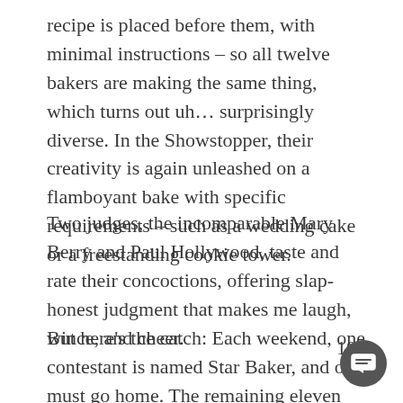recipe is placed before them, with minimal instructions – so all twelve bakers are making the same thing, which turns out uh… surprisingly diverse. In the Showstopper, their creativity is again unleashed on a flamboyant bake with specific requirements – such as a wedding cake or a freestanding cookie tower.
Two judges, the incomparable Mary Berry and Paul Hollywood, taste and rate their concoctions, offering slap-honest judgment that makes me laugh, wince, and cheer.
But here's the catch: Each weekend, one contestant is named Star Baker, and one must go home. The remaining eleven meet the next weekend, and so on… until there are only three